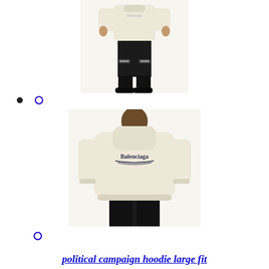[Figure (photo): Person wearing cream/off-white sweatshirt and black ripped jeans with black boots, front view from shoulders down]
[Figure (photo): Person wearing oversized cream/off-white Balenciaga hoodie with 'Balenciaga' political campaign logo on the back, shown from behind, wearing black pants]
political campaign hoodie large fit